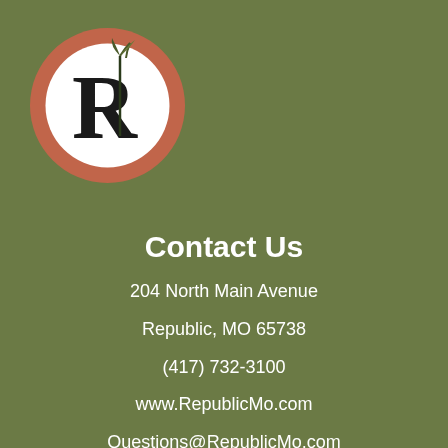[Figure (logo): Circular logo with rust/terracotta border and white background featuring a stylized letter R with a leaf/plant motif]
Contact Us
204 North Main Avenue
Republic, MO 65738
(417) 732-3100
www.RepublicMo.com
Questions@RepublicMo.com